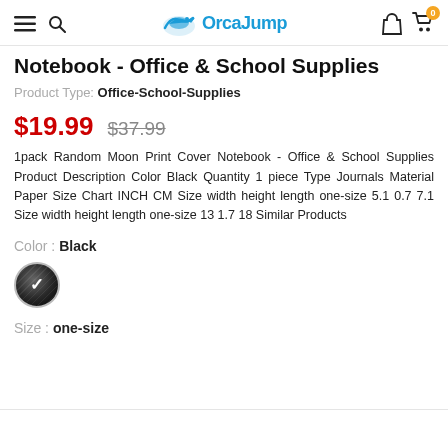OrcaJump
Notebook - Office & School Supplies
Product Type: Office-School-Supplies
$19.99  $37.99
1pack Random Moon Print Cover Notebook - Office & School Supplies Product Description Color Black Quantity 1 piece Type Journals Material Paper Size Chart INCH CM Size width height length one-size 5.1 0.7 7.1 Size width height length one-size 13 1.7 18 Similar Products
Color : Black
[Figure (photo): Black moon-print circular color swatch with white checkmark]
Size : one-size